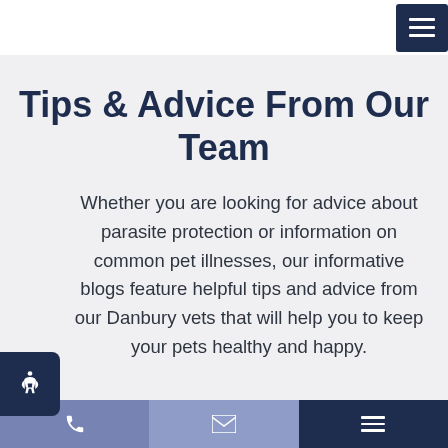Navigation bar with hamburger menu
Tips & Advice From Our Team
Whether you are looking for advice about parasite protection or information on common pet illnesses, our informative blogs feature helpful tips and advice from our Danbury vets that will help you to keep your pets healthy and happy.
Phone | Email | Menu navigation bar